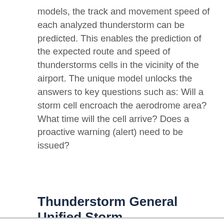models, the track and movement speed of each analyzed thunderstorm can be predicted. This enables the prediction of the expected route and speed of thunderstorms cells in the vicinity of the airport. The unique model unlocks the answers to key questions such as: Will a storm cell encroach the aerodrome area? What time will the cell arrive? Does a proactive warning (alert) need to be issued?
Thunderstorm General Unified Storm
We use cookies to improve your user experience and assess traffic data. By browsing our site, you are agreeing to our use of cookies. For more information please read our cookie policies and data privacy statement.